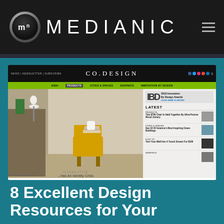[Figure (logo): Medianic logo with circular 'mn' emblem on dark background header bar with hamburger menu icon]
[Figure (screenshot): Screenshot of CO.DESIGN website showing navigation bar, green category nav, main feature image of a room with chair, and right sidebar with Latest articles including '2018 Innovation By Design Awards', 'This $750 Chair Is Held Together By Ultra-Precise Wood Joinery', 'See 10 Of America's Most Inspiring Green Buildings', 'Turn Your Wall Into A Touch Screen For $100']
8 Excellent Design Resources for Your